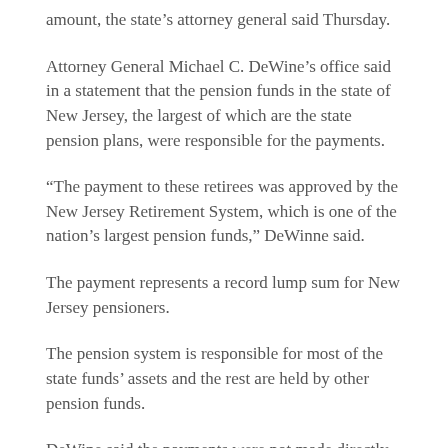amount, the state's attorney general said Thursday.
Attorney General Michael C. DeWine's office said in a statement that the pension funds in the state of New Jersey, the largest of which are the state pension plans, were responsible for the payments.
“The payment to these retirees was approved by the New Jersey Retirement System, which is one of the nation’s largest pension funds,” DeWinne said.
The payment represents a record lump sum for New Jersey pensioners.
The pension system is responsible for most of the state funds’ assets and the rest are held by other pension funds.
DeWine said the payments were not made directly to the